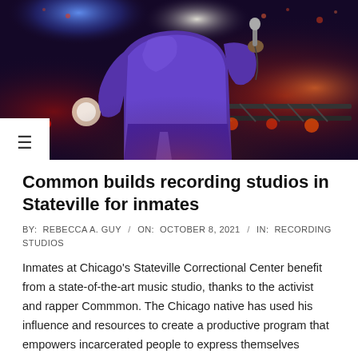[Figure (photo): A performer on stage wearing a blue/purple jacket, holding a microphone, with stage lighting including red and blue lights in the background.]
Common builds recording studios in Stateville for inmates
BY: REBECCA A. GUY / ON: OCTOBER 8, 2021 / IN: RECORDING STUDIOS
Inmates at Chicago's Stateville Correctional Center benefit from a state-of-the-art music studio, thanks to the activist and rapper Commmon. The Chicago native has used his influence and resources to create a productive program that empowers incarcerated people to express themselves creatively, reports WBBM-TV CBS-Chicago television channel. The three-time Grammy winner